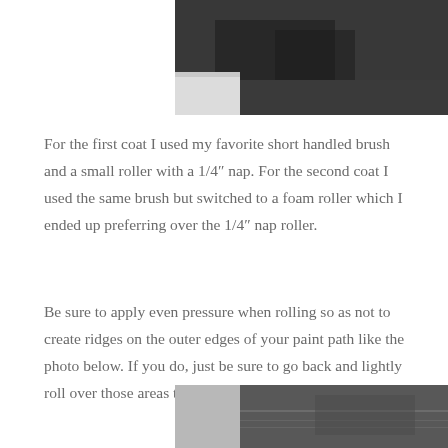[Figure (photo): Top portion of a photo showing a painted surface or wall, dark colored, with a white/light area at bottom left corner]
For the first coat I used my favorite short handled brush and a small roller with a 1/4″ nap. For the second coat I used the same brush but switched to a foam roller which I ended up preferring over the 1/4″ nap roller.
Be sure to apply even pressure when rolling so as not to create ridges on the outer edges of your paint path like the photo below. If you do, just be sure to go back and lightly roll over those areas to even it out.
[Figure (photo): Bottom portion showing a painted surface with visible ridges/lines from rolling, dark gray paint]